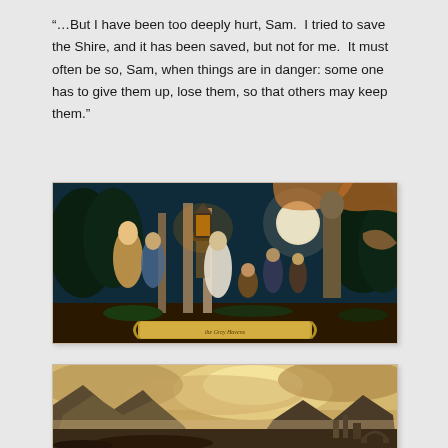“…But I have been too deeply hurt, Sam.  I tried to save the Shire, and it has been saved, but not for me.  It must often be so, Sam, when things are in danger: some one has to give them up, lose them, so that others may keep them.”
[Figure (illustration): A fantasy illustration depicting a night garden scene with robed figures, a glowing lantern on a pedestal, trees, columns, a full moon, and decorative draping. A scroll banner sits at the bottom center. Colors are warm amber and deep teal.]
[Figure (illustration): A fantasy landscape painting showing misty mountains, dramatic sky with warm light breaking through clouds, ancient ruins or city structures visible in the lower right, rendered in muted warm tones.]